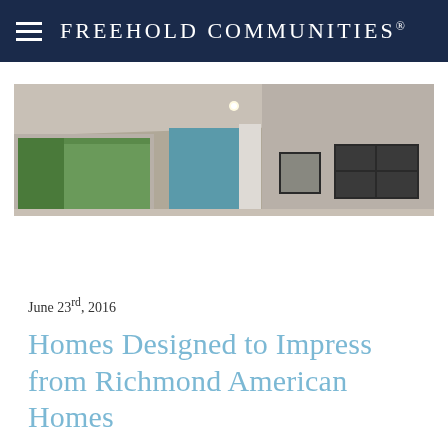Freehold Communities®
[Figure (photo): Interior photo of a modern home showing large windows with green outdoor view, white curtains, and wall-mounted art frames]
June 23rd, 2016
Homes Designed to Impress from Richmond American Homes